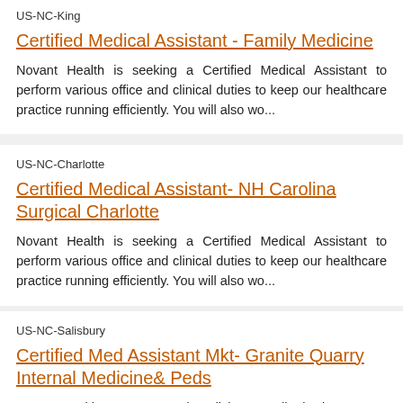US-NC-King
Certified Medical Assistant - Family Medicine
Novant Health is seeking a Certified Medical Assistant to perform various office and clinical duties to keep our healthcare practice running efficiently. You will also wo...
US-NC-Charlotte
Certified Medical Assistant- NH Carolina Surgical Charlotte
Novant Health is seeking a Certified Medical Assistant to perform various office and clinical duties to keep our healthcare practice running efficiently. You will also wo...
US-NC-Salisbury
Certified Med Assistant Mkt- Granite Quarry Internal Medicine& Peds
Novant Health Quarry Internal Medicine & Pediatrics is